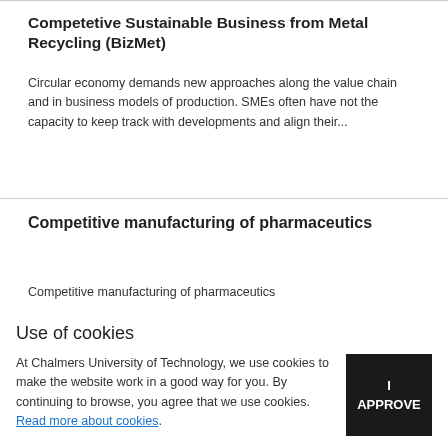Competetive Sustainable Business from Metal Recycling (BizMet)
Circular economy demands new approaches along the value chain and in business models of production. SMEs often have not the capacity to keep track with developments and align their...
Competitive manufacturing of pharmaceutics
Competitive manufacturing of pharmaceutics
Use of cookies
At Chalmers University of Technology, we use cookies to make the website work in a good way for you. By continuing to browse, you agree that we use cookies. Read more about cookies.